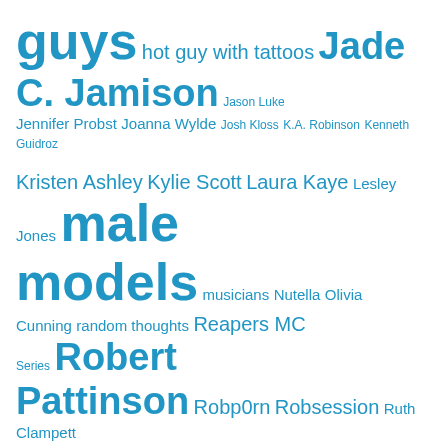[Figure (infographic): Tag cloud with various blog/book-related tags in different font sizes, all in blue. Larger tags include 'guys', 'sexy guys', 'male models', 'scruffy guys', 'Tantalizing Tuesdays', 'The Book Barista', 'Wordless Wednesdays', 'WWW Wednesdays'. Smaller tags include author names and series names.]